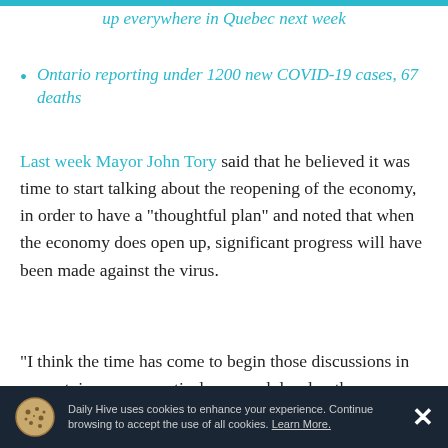up everywhere in Quebec next week
Ontario reporting under 1200 new COVID-19 cases, 67 deaths
Last week Mayor John Tory said that he believed it was time to start talking about the reopening of the economy, in order to have a “thoughtful plan” and noted that when the economy does open up, significant progress will have been made against the virus.
“I think the time has come to begin those discussions in earnest, in a very practical way, and develop the
Daily Hive uses cookies to enhance your experience. Continue browsing to accept the use of all cookies. Learn More.